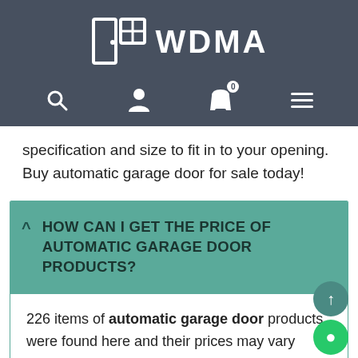[Figure (logo): WDMA logo with door/window icon and text WDMA on dark blue-grey header background]
[Figure (screenshot): Navigation bar icons: search, user, shopping bag with badge '0', and hamburger menu]
specification and size to fit in to your opening. Buy automatic garage door for sale today!
HOW CAN I GET THE PRICE OF AUTOMATIC GARAGE DOOR PRODUCTS?
226 items of automatic garage door products were found here and their prices may vary depending on the profiles, hardware, designs and